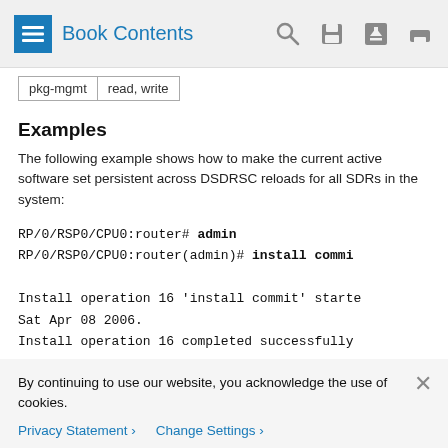Book Contents
| pkg-mgmt | read, write |
Examples
The following example shows how to make the current active software set persistent across DSDRSC reloads for all SDRs in the system:
RP/0/RSP0/CPU0:router# admin
RP/0/RSP0/CPU0:router(admin)# install commit

Install operation 16 'install commit' started
Sat Apr 08 2006.
Install operation 16 completed successfully
By continuing to use our website, you acknowledge the use of cookies.
Privacy Statement > Change Settings >